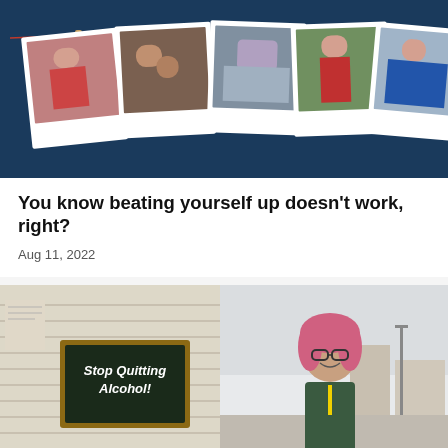[Figure (photo): Dark blue banner with five polaroid photos hanging on a clothesline with red string and clothespins. Photos show various people in different situations.]
You know beating yourself up doesn't work, right?
Aug 11, 2022
[Figure (photo): Outdoor scene split: left side shows a building wall with a chalkboard sign reading 'Stop Quitting Alcohol!'; right side shows a smiling woman with pink hair and glasses standing outside.]